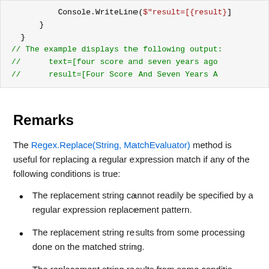[Figure (screenshot): Code block showing C# code snippet with Console.WriteLine and comment lines showing example output with text and result interpolation]
Remarks
The Regex.Replace(String, MatchEvaluator) method is useful for replacing a regular expression match if any of the following conditions is true:
The replacement string cannot readily be specified by a regular expression replacement pattern.
The replacement string results from some processing done on the matched string.
The replacement string results from some conditional...